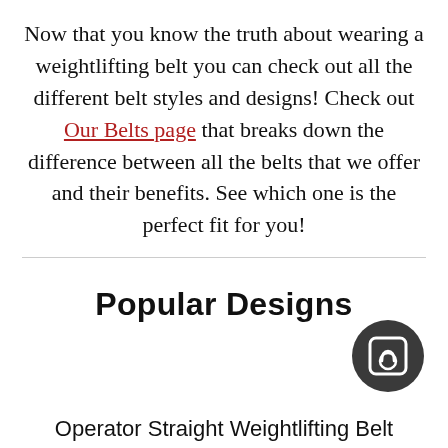Now that you know the truth about wearing a weightlifting belt you can check out all the different belt styles and designs! Check out Our Belts page that breaks down the difference between all the belts that we offer and their benefits. See which one is the perfect fit for you!
Popular Designs
[Figure (illustration): Dark circular icon with a kettlebell/weightlifting belt graphic inside a square rounded frame]
Operator Straight Weightlifting Belt